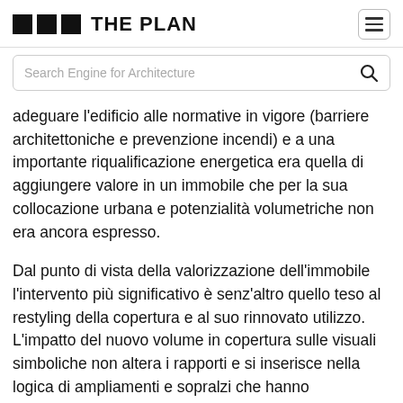THE PLAN
adeguare l'edificio alle normative in vigore (barriere architettoniche e prevenzione incendi) e a una importante riqualificazione energetica era quella di aggiungere valore in un immobile che per la sua collocazione urbana e potenzialità volumetriche non era ancora espresso.
Dal punto di vista della valorizzazione dell'immobile l'intervento più significativo è senz'altro quello teso al restyling della copertura e al suo rinnovato utilizzo. L'impatto del nuovo volume in copertura sulle visuali simboliche non altera i rapporti e si inserisce nella logica di ampliamenti e sopralzi che hanno caratterizzato tutte le recenti ristrutturazioni sulla via.